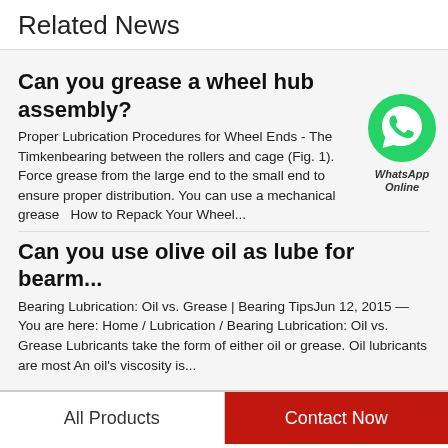Related News
Can you grease a wheel hub assembly?
Proper Lubrication Procedures for Wheel Ends - The Timkenbearing between the rollers and cage (Fig. 1). Force grease from the large end to the small end to ensure proper distribution. You can use a mechanical grease  How to Repack Your Wheel...
[Figure (logo): WhatsApp green chat bubble icon with phone handset, labeled 'WhatsApp Online']
Can you use olive oil as lube for bearm...
Bearing Lubrication: Oil vs. Grease | Bearing TipsJun 12, 2015 — You are here: Home / Lubrication / Bearing Lubrication: Oil vs. Grease Lubricants take the form of either oil or grease. Oil lubricants are most An oil's viscosity is...
All Products    Contact Now